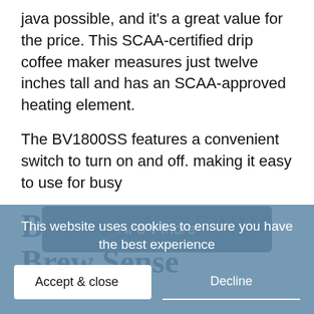java possible, and it's a great value for the price. This SCAA-certified drip coffee maker measures just twelve inches tall and has an SCAA-approved heating element.

The BV1800SS features a convenient switch to turn on and off. making it easy to use for busy
Show More
Braun KF7150BK
Brew Sense
This website uses cookies to ensure you have the best experience
Accept & close
Decline